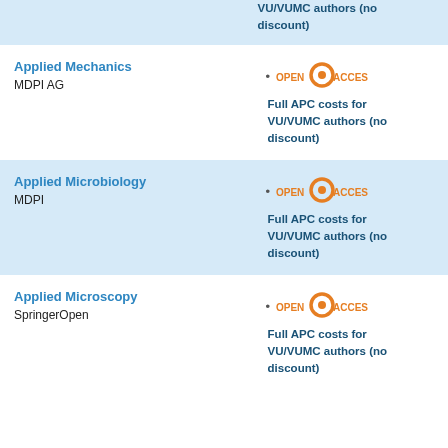VU/VUMC authors (no discount)
Applied Mechanics
MDPI AG
Full APC costs for VU/VUMC authors (no discount)
Applied Microbiology
MDPI
Full APC costs for VU/VUMC authors (no discount)
Applied Microscopy
SpringerOpen
Full APC costs for VU/VUMC authors (no discount)